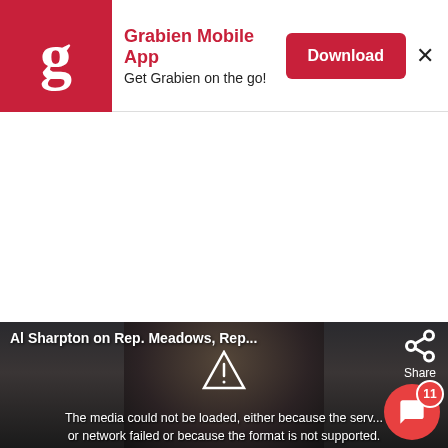[Figure (screenshot): Grabien Mobile App banner ad with red logo, app title, 'Get Grabien on the go!' tagline, red Download button, and X close button]
[Figure (screenshot): Video player showing 'Al Sharpton on Rep. Meadows, Rep...' with a share icon, warning triangle icon, and error message: 'The media could not be loaded, either because the server or network failed or because the format is not supported.' Notification bubble with count 11 in lower right.]